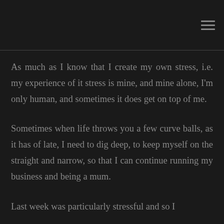As much as I know that I create my own stress, i.e. my experience of it stress is mine, and mine alone, I'm only human, and sometimes it does get on top of me.
Sometimes when life throws you a few curve balls, as it has of late, I need to dig deep, to keep myself on the straight and narrow, so that I can continue running my business and being a mum.
Last week was particularly stressful and so I